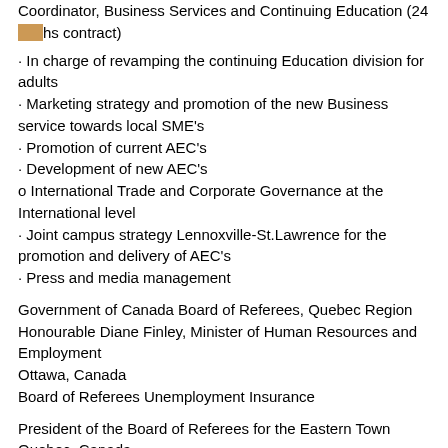Coordinator, Business Services and Continuing Education (24 months contract)
· In charge of revamping the continuing Education division for adults
· Marketing strategy and promotion of the new Business service towards local SME's
· Promotion of current AEC's
· Development of new AEC's
o International Trade and Corporate Governance at the International level
· Joint campus strategy Lennoxville-St.Lawrence for the promotion and delivery of AEC's
· Press and media management
Government of Canada Board of Referees, Quebec Region
Honourable Diane Finley, Minister of Human Resources and Employment
Ottawa, Canada
Board of Referees Unemployment Insurance
President of the Board of Referees for the Eastern Town
Quebec, Canada